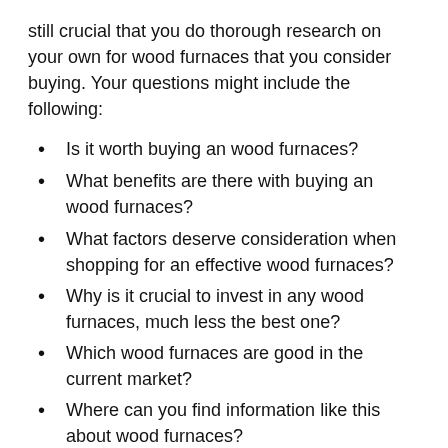still crucial that you do thorough research on your own for wood furnaces that you consider buying. Your questions might include the following:
Is it worth buying an wood furnaces?
What benefits are there with buying an wood furnaces?
What factors deserve consideration when shopping for an effective wood furnaces?
Why is it crucial to invest in any wood furnaces, much less the best one?
Which wood furnaces are good in the current market?
Where can you find information like this about wood furnaces?